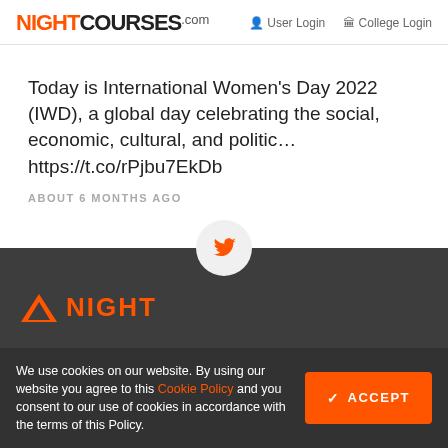NIGHTCOURSES.com  User Login  College Login
Today is International Women's Day 2022 (IWD), a global day celebrating the social, economic, cultural, and politic… https://t.co/rPjbu7EkDb
ABOUT 6 MONTHS AGO
[Figure (logo): Twitter bird icon in a circle dividing white and dark sections]
[Figure (logo): NightCourses footer logo with orange triangle and NIGHT text]
We use cookies on our website. By using our website you agree to this Cookie Policy and you consent to our use of cookies in accordance with the terms of this Policy.